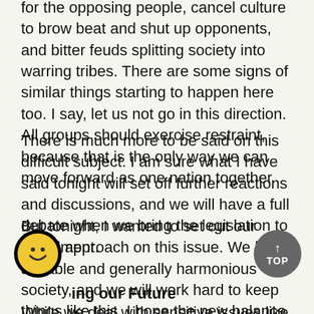for the opposing people, cancel culture to brow beat and shut up opponents, and bitter feuds splitting society into warring tribes. There are some signs of similar things starting to happen here too. I say, let us not go in this direction. All groups should exercise restraint, because that is the only way we can move forward as one nation together.
There is much more to be said on this difficult subject. I am sure what I have said tonight will set off further reactions and discussions, and we will have a full debate when we bring the legislation to Parliament.
But tonight, I wanted to set out our broad approach on this issue. We have a stable and generally harmonious society, and we will work hard to keep things like this. I hope the new balance will enable Singapore to remain a tolerant and inclusive society for many years to come.
ing our Future
While we deal with sensitive issues like s377A, please